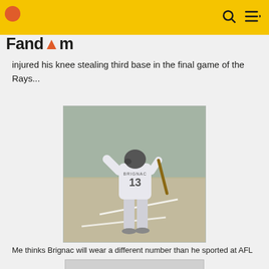Fandom
injured his knee stealing third base in the final game of the Rays...
[Figure (photo): Baseball player wearing jersey number 13 with name Brignac, standing at bat on a baseball field, viewed from behind]
Me thinks Brignac will wear a different number than he sported at AFL
[Figure (photo): Partially visible photo at bottom of page, gray/light colored]